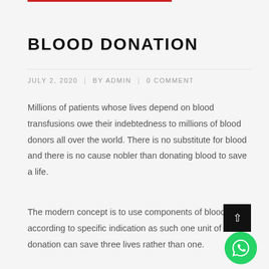BLOOD DONATION
JULY 2, 2020  |  BY ADMIN  |  0 COMMENT
Millions of patients whose lives depend on blood transfusions owe their indebtedness to millions of blood donors all over the world. There is no substitute for blood and there is no cause nobler than donating blood to save a life.
The modern concept is to use components of blood according to specific indication as such one unit of blood donation can save three lives rather than one.